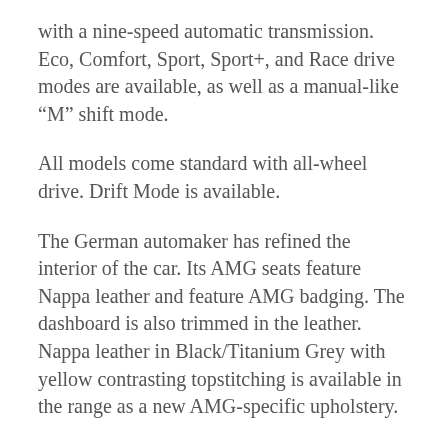with a nine-speed automatic transmission. Eco, Comfort, Sport, Sport+, and Race drive modes are available, as well as a manual-like “M” shift mode.
All models come standard with all-wheel drive. Drift Mode is available.
The German automaker has refined the interior of the car. Its AMG seats feature Nappa leather and feature AMG badging. The dashboard is also trimmed in the leather. Nappa leather in Black/Titanium Grey with yellow contrasting topstitching is available in the range as a new AMG-specific upholstery.
Mercedes has installed the company’s new MBUX infotainment system in the model. It features two 12.3-inch displays, one in front of the driver and the other in the center of the dashboard. Drivers can switch between Modern Classic, Sport, and